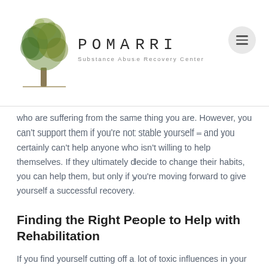POMARRI Substance Abuse Recovery Center
who are suffering from the same thing you are. However, you can't support them if you're not stable yourself – and you certainly can't help anyone who isn't willing to help themselves. If they ultimately decide to change their habits, you can help them, but only if you're moving forward to give yourself a successful recovery.
Finding the Right People to Help with Rehabilitation
If you find yourself cutting off a lot of toxic influences in your life when recovering from alcohol addiction, you may feel isolated as a result. That's why it's important to find new people who will be supportive. This can